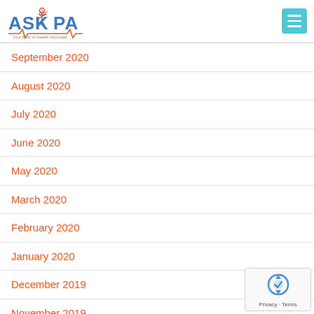Ask the PA - Your Best of Health Advocate
September 2020
August 2020
July 2020
June 2020
May 2020
March 2020
February 2020
January 2020
December 2019
November 2019